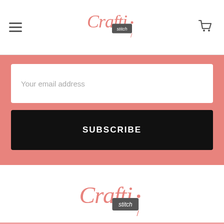[Figure (logo): CraftiStitch logo in pink cursive with dark tag element, in the header navigation bar]
[Figure (other): Email subscription input form with placeholder text 'Your email address' on pink background]
SUBSCRIBE
[Figure (logo): CraftiStitch logo in pink cursive with dark tag element, centered in footer area]
Dyer,
IN 46311